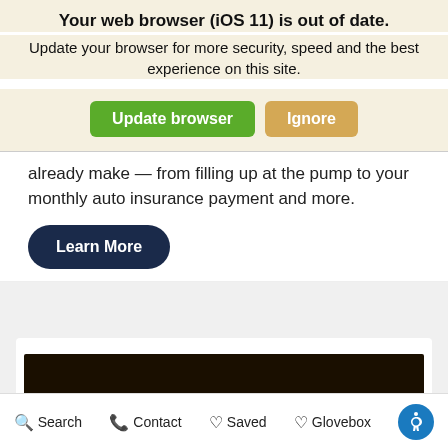Your web browser (iOS 11) is out of date.
Update your browser for more security, speed and the best experience on this site.
Update browser | Ignore
already make — from filling up at the pump to your monthly auto insurance payment and more.
Learn More
[Figure (photo): Dark photograph partially visible at the bottom of the page inside a white card.]
Search  Contact  Saved  Glovebox